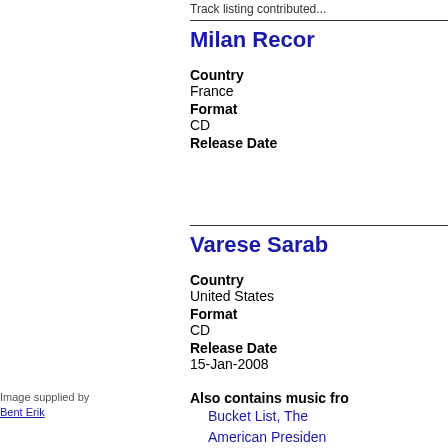Track listing contributed...
Milan Recor...
Country
France
Format
CD
Release Date
Varese Sarab...
Country
United States
Format
CD
Release Date
15-Jan-2008
Image supplied by
Bent Erik
Also contains music fro...
Bucket List, The
American Presiden...
City Slickers
Simon Birch
Addams Family, Th...
Mother
North